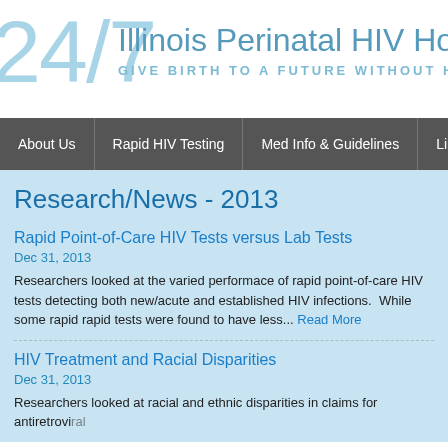24/7 Illinois Perinatal HIV Hotline — GIVE BIRTH TO A FUTURE WITHOUT HIV/A
About Us | Rapid HIV Testing | Med Info & Guidelines | Linkage to Care
Research/News - 2013
Rapid Point-of-Care HIV Tests versus Lab Tests
Dec 31, 2013
Researchers looked at the varied performace of rapid point-of-care HIV tests detecting both new/acute and established HIV infections.  While some rapid rapid tests were found to have less... Read More
HIV Treatment and Racial Disparities
Dec 31, 2013
Researchers looked at racial and ethnic disparities in claims for antiretroviral